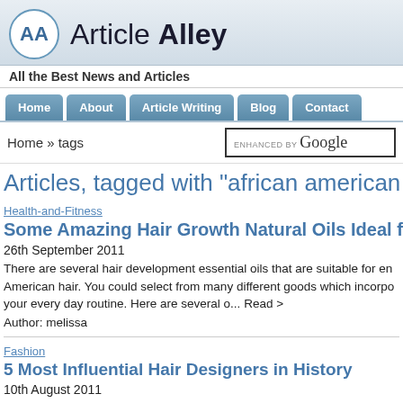[Figure (logo): Article Alley website logo with AA circle emblem and site name]
All the Best News and Articles
Home | About | Article Writing | Blog | Contact
Home » tags
Articles, tagged with "african american hair", p
Health-and-Fitness
Some Amazing Hair Growth Natural Oils Ideal for African Am
26th September 2011
There are several hair development essential oils that are suitable for en American hair. You could select from many different goods which incorpo your every day routine. Here are several o... Read >
Author: melissa
Fashion
5 Most Influential Hair Designers in History
10th August 2011
The following list of the 5 most influential hair designers in history is by n